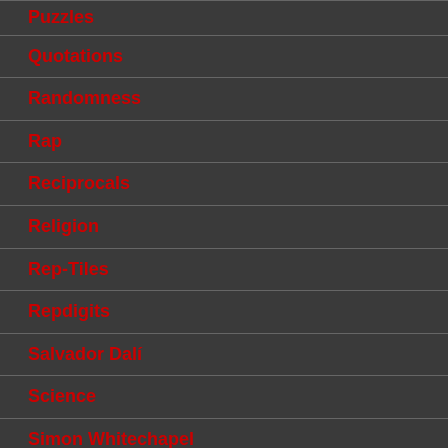Puzzles
Quotations
Randomness
Rap
Reciprocals
Religion
Rep-Tiles
Repdigits
Salvador Dalí
Science
Simon Whitechapel
Square root of 2
Square Roots